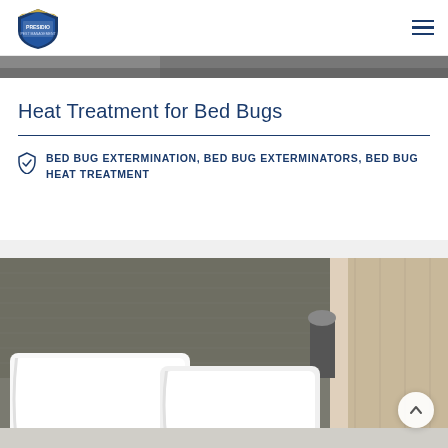Presidio Pest Management — navigation header with logo and hamburger menu
[Figure (photo): Partial image strip at the top showing a blurred outdoor/person scene]
Heat Treatment for Bed Bugs
BED BUG EXTERMINATION, BED BUG EXTERMINATORS, BED BUG HEAT TREATMENT
[Figure (photo): Hotel bedroom with white pillows against a gray fabric headboard, with beige curtains in background]